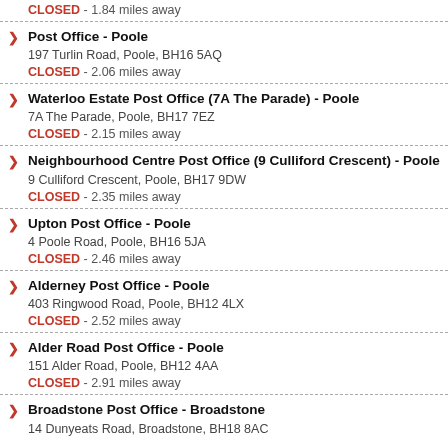CLOSED - 1.84 miles away
Post Office - Poole
197 Turlin Road, Poole, BH16 5AQ
CLOSED - 2.06 miles away
Waterloo Estate Post Office (7A The Parade) - Poole
7A The Parade, Poole, BH17 7EZ
CLOSED - 2.15 miles away
Neighbourhood Centre Post Office (9 Culliford Crescent) - Poole
9 Culliford Crescent, Poole, BH17 9DW
CLOSED - 2.35 miles away
Upton Post Office - Poole
4 Poole Road, Poole, BH16 5JA
CLOSED - 2.46 miles away
Alderney Post Office - Poole
403 Ringwood Road, Poole, BH12 4LX
CLOSED - 2.52 miles away
Alder Road Post Office - Poole
151 Alder Road, Poole, BH12 4AA
CLOSED - 2.91 miles away
Broadstone Post Office - Broadstone
14 Dunyeats Road, Broadstone, BH18 8AC